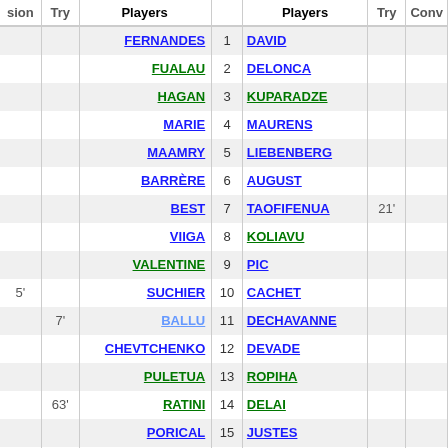| sion | Try | Players |  | Players | Try | Conv |
| --- | --- | --- | --- | --- | --- | --- |
|  |  | FERNANDES | 1 | DAVID |  |  |
|  |  | FUALAU | 2 | DELONCA |  |  |
|  |  | HAGAN | 3 | KUPARADZE |  |  |
|  |  | MARIE | 4 | MAURENS |  |  |
|  |  | MAAMRY | 5 | LIEBENBERG |  |  |
|  |  | BARRÈRE | 6 | AUGUST |  |  |
|  |  | BEST | 7 | TAOFIFENUA | 21' |  |
|  |  | VIIGA | 8 | KOLIAVU |  |  |
|  |  | VALENTINE | 9 | PIC |  |  |
| 5' |  | SUCHIER | 10 | CACHET |  |  |
|  | 7' | BALLU | 11 | DECHAVANNE |  |  |
|  |  | CHEVTCHENKO | 12 | DEVADE |  |  |
|  |  | PULETUA | 13 | ROPIHA |  |  |
|  | 63' | RATINI | 14 | DELAI |  |  |
|  |  | PORICAL | 15 | JUSTES |  |  |
|  |  | MARCO-PENA | 16 | BLANCHARD |  |  |
|  |  | WARDI | 17 | CHOINARD |  |  |
|  |  | DESROCHE | 18 | TUINEAU |  |  |